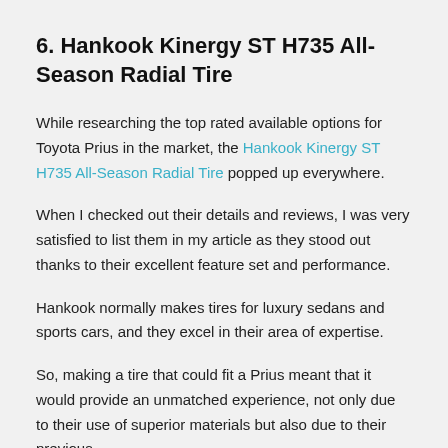6. Hankook Kinergy ST H735 All-Season Radial Tire
While researching the top rated available options for Toyota Prius in the market, the Hankook Kinergy ST H735 All-Season Radial Tire popped up everywhere.
When I checked out their details and reviews, I was very satisfied to list them in my article as they stood out thanks to their excellent feature set and performance.
Hankook normally makes tires for luxury sedans and sports cars, and they excel in their area of expertise.
So, making a tire that could fit a Prius meant that it would provide an unmatched experience, not only due to their use of superior materials but also due to their previous